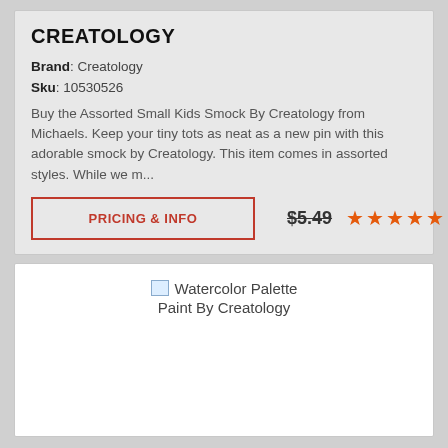CREATOLOGY
Brand: Creatology
Sku: 10530526
Buy the Assorted Small Kids Smock By Creatology from Michaels. Keep your tiny tots as neat as a new pin with this adorable smock by Creatology. This item comes in assorted styles. While we m...
PRICING & INFO   $5.49   ★★★★★
[Figure (screenshot): Broken image placeholder with text 'Watercolor Palette Paint By Creatology']